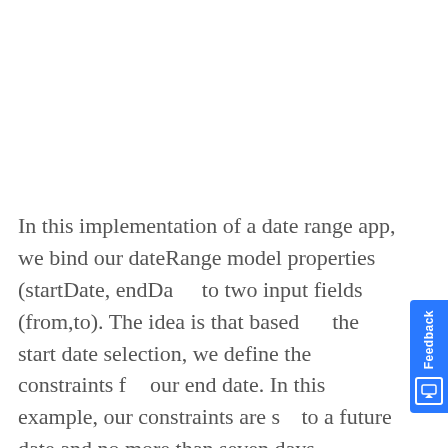In this implementation of a date range app, we bind our dateRange model properties (startDate, endDate) to two input fields (from,to). The idea is that based on the start date selection, we define the constraints for our end date. In this example, our constraints are set to a future date and no more than seven days.
To enable the native date picker control, we set both input fields to “type=date”. This enables the device to render a native control for the date selection as well as